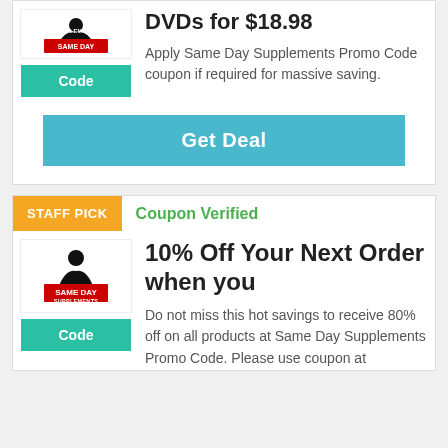DVDs for $18.98
Apply Same Day Supplements Promo Code coupon if required for massive saving.
Get Deal
STAFF PICK
Coupon Verified
10% Off Your Next Order when you
Do not miss this hot savings to receive 80% off on all products at Same Day Supplements Promo Code. Please use coupon at